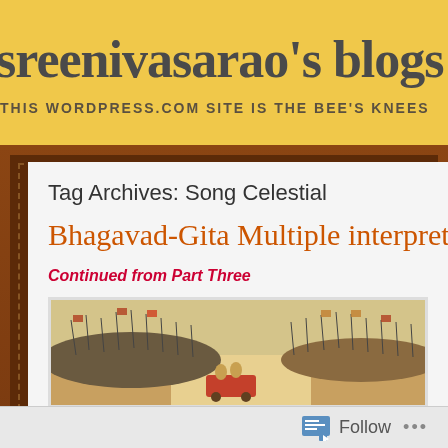sreenivasarao's blogs — THIS WORDPRESS.COM SITE IS THE BEE'S KNEES
Tag Archives: Song Celestial
Bhagavad-Gita Multiple interpret
Continued from Part Three
[Figure (illustration): A battle scene painting showing two opposing armies with spears and flags on a battlefield, in a classical Indian miniature painting style representing the Kurukshetra war from the Mahabharata]
Follow ...